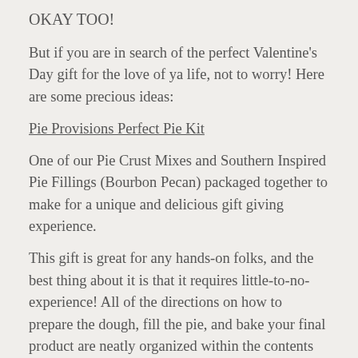OKAY TOO!
But if you are in search of the perfect Valentine's Day gift for the love of ya life, not to worry! Here are some precious ideas:
Pie Provisions Perfect Pie Kit
One of our Pie Crust Mixes and Southern Inspired Pie Fillings (Bourbon Pecan) packaged together to make for a unique and delicious gift giving experience.
This gift is great for any hands-on folks, and the best thing about it is that it requires little-to-no-experience! All of the directions on how to prepare the dough, fill the pie, and bake your final product are neatly organized within the contents of the box (and there's even a homemade whipped cream recipe on the side)!